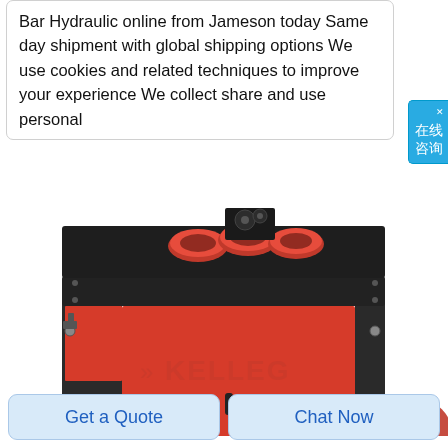Bar Hydraulic online from Jameson today Same day shipment with global shipping options We use cookies and related techniques to improve your experience We collect share and use personal
[Figure (photo): Industrial hydraulic bar bending machine, red and black cabinet with roller wheels on top, branded KELLEG watermark, white background]
在线咨询
Get a Quote
Chat Now